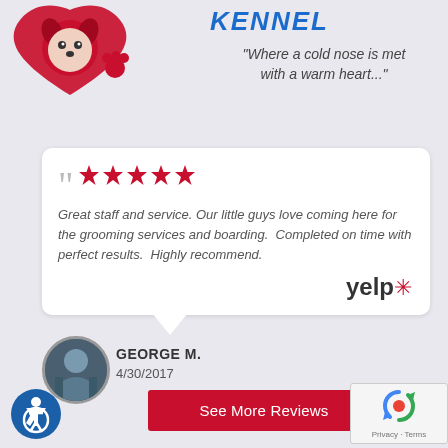[Figure (logo): Red heart with dog and paw print logo for kennel]
KENNEL
“Where a cold nose is met with a warm heart...”
Great staff and service. Our little guys love coming here for the grooming services and boarding. Completed on time with perfect results. Highly recommend.
[Figure (logo): Yelp logo with red burst]
[Figure (photo): Circular profile photo of reviewer George M.]
GEORGE M.
4/30/2017
See More Reviews
[Figure (logo): Wheelchair accessibility icon in blue circle]
[Figure (logo): Google reCAPTCHA widget showing Privacy and Terms]